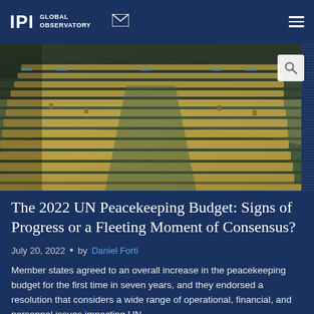IPI GLOBAL OBSERVATORY
[Figure (photo): UN General Assembly hall showing rows of curved wooden delegate desks with yellow chairs, viewed from above at an angle, mostly empty seats with a few delegates present]
The 2022 UN Peacekeeping Budget: Signs of Progress or a Fleeting Moment of Consensus?
July 20, 2022 • by Daniel Forti
Member states agreed to an overall increase in the peacekeeping budget for the first time in seven years, and they endorsed a resolution that considers a wide range of operational, financial, and personnel issues impacting UN